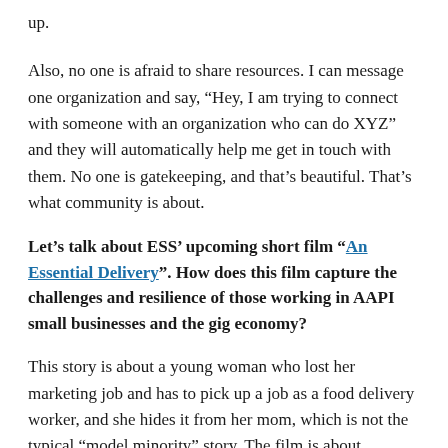up.
Also, no one is afraid to share resources. I can message one organization and say, “Hey, I am trying to connect with someone with an organization who can do XYZ” and they will automatically help me get in touch with them. No one is gatekeeping, and that’s beautiful. That’s what community is about.
Let’s talk about ESS’ upcoming short film “An Essential Delivery”. How does this film capture the challenges and resilience of those working in AAPI small businesses and the gig economy?
This story is about a young woman who lost her marketing job and has to pick up a job as a food delivery worker, and she hides it from her mom, which is not the typical “model minority” story. The film is about essential workers. Shane was the one who came up with the idea after seeing videos of food